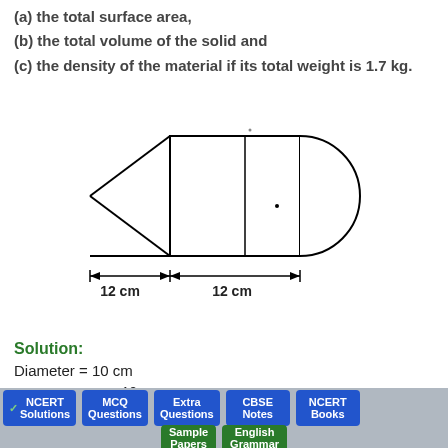(a) the total surface area,
(b) the total volume of the solid and
(c) the density of the material if its total weight is 1.7 kg.
[Figure (engineering-diagram): A composite solid consisting of a cone on the left, a cylinder in the middle, and a hemisphere on the right. The cone and cylinder each have a length of 12 cm as indicated by arrows below.]
Solution:
Diameter = 10 cm